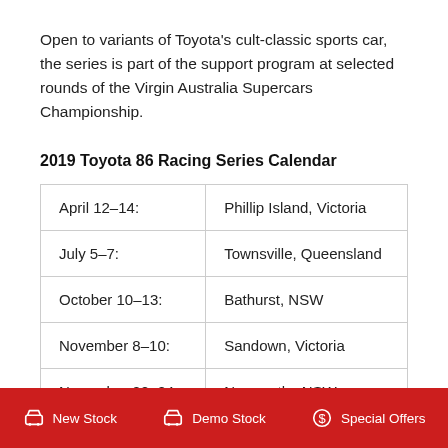Open to variants of Toyota's cult-classic sports car, the series is part of the support program at selected rounds of the Virgin Australia Supercars Championship.
2019 Toyota 86 Racing Series Calendar
| April 12–14: | Phillip Island, Victoria |
| July 5–7: | Townsville, Queensland |
| October 10–13: | Bathurst, NSW |
| November 8–10: | Sandown, Victoria |
| November 22–24: | Newcastle, NSW |
New Stock   Demo Stock   Special Offers